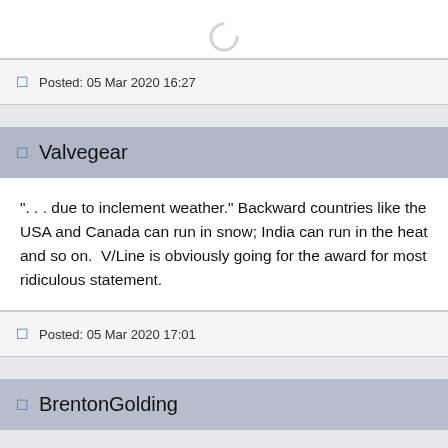[Figure (other): Partial spinner/loading icon at the top of the page]
Posted: 05 Mar 2020 16:27
Valvegear
". . . due to inclement weather." Backward countries like the USA and Canada can run in snow; India can run in the heat and so on.  V/Line is obviously going for the award for most ridiculous statement.
Posted: 05 Mar 2020 17:01
BrentonGolding